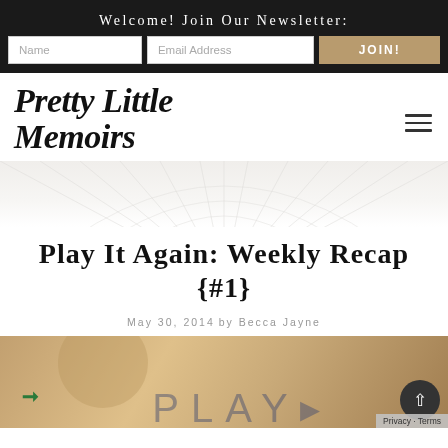Welcome! Join Our Newsletter:
Name | Email Address | JOIN!
Pretty Little Memoirs
Play It Again: Weekly Recap {#1}
May 30, 2014 by Becca Jayne
[Figure (photo): Decorative blog post header image with warm tan/beige tones and stylized PLAY text overlay]